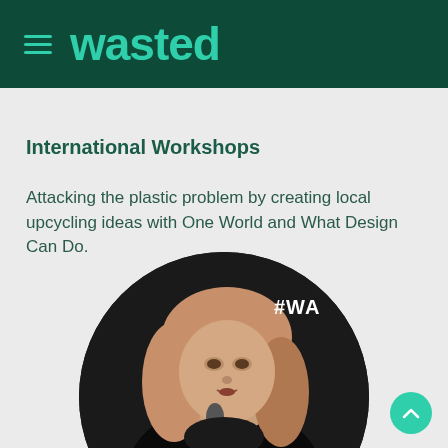wasted
International Workshops
Attacking the plastic problem by creating local upcycling ideas with One World and What Design Can Do.
[Figure (photo): A woman with blonde hair speaking into a microphone at an event, shown in a circular cropped frame on a dark background. A partial hashtag '#WA' is visible in the upper right of the circle.]